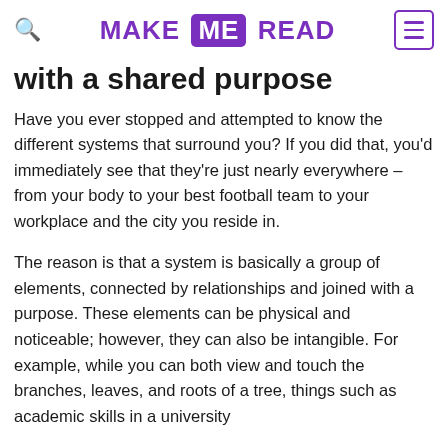MAKE ME READ
with a shared purpose
Have you ever stopped and attempted to know the different systems that surround you? If you did that, you'd immediately see that they're just nearly everywhere – from your body to your best football team to your workplace and the city you reside in.
The reason is that a system is basically a group of elements, connected by relationships and joined with a purpose. These elements can be physical and noticeable; however, they can also be intangible. For example, while you can both view and touch the branches, leaves, and roots of a tree, things such as academic skills in a university